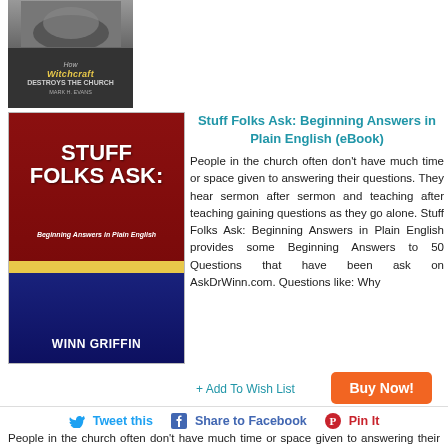[Figure (photo): Book cover: How Witchcraft Destroys the Church, dark cover with bird/crow imagery]
[Figure (photo): Book cover: Stuff Folks Ask: Beginning Answers in Plain English by Winn Griffin, dark red and navy blue cover with yellow stripe]
Stuff Folks Ask: Beginning Answers in Plain English (eBook)
People in the church often don't have much time or space given to answering their questions. They hear sermon after sermon and teaching after teaching gaining questions as they go alone. Stuff Folks Ask: Beginning Answers in Plain English provides some Beginning Answers to 50 Questions that have been ask on AskDrWinn.com. Questions like: Why
+ Add To Wish List
Buy Now!
Tweet this   Share to Facebook   Pin It
People in the church often don't have much time or space given to answering their questions. They hear sermon after sermon and teaching after teaching